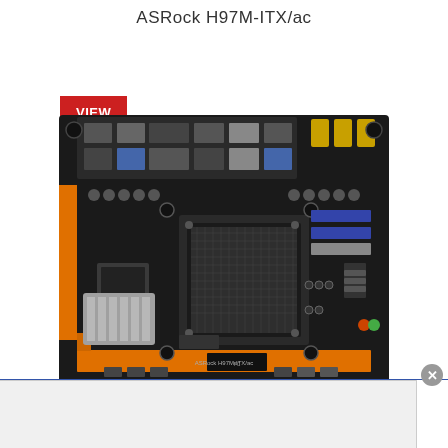ASRock H97M-ITX/ac
VIEW SITE
[Figure (photo): Photo of ASRock H97M-ITX/ac mini-ITX motherboard showing black PCB with orange RAM slots and expansion slot brackets, Intel LGA1150 socket, chipset heatsink, I/O ports, and Wi-Fi antenna connectors.]